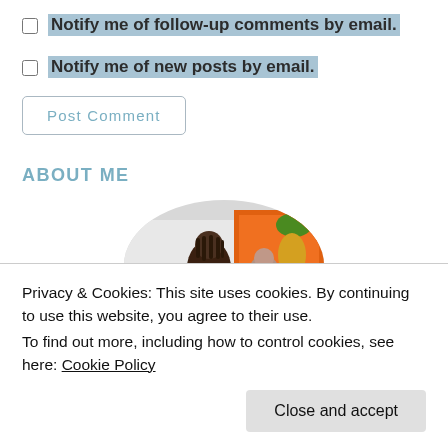Notify me of follow-up comments by email.
Notify me of new posts by email.
Post Comment
ABOUT ME
[Figure (photo): Circular cropped profile photo showing people outdoors near a food truck with orange decorations and a pineapple]
Privacy & Cookies: This site uses cookies. By continuing to use this website, you agree to their use.
To find out more, including how to control cookies, see here: Cookie Policy
Close and accept